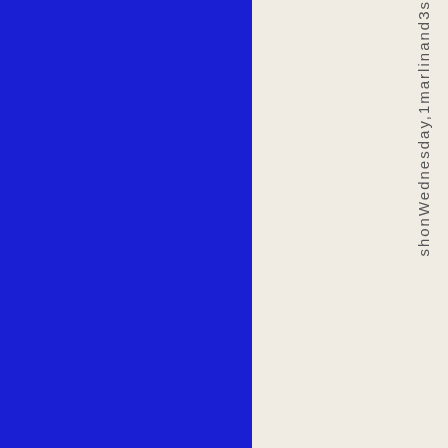[Figure (other): Blue rectangle block occupying left portion of page]
shonWednesday,1marlinand3s